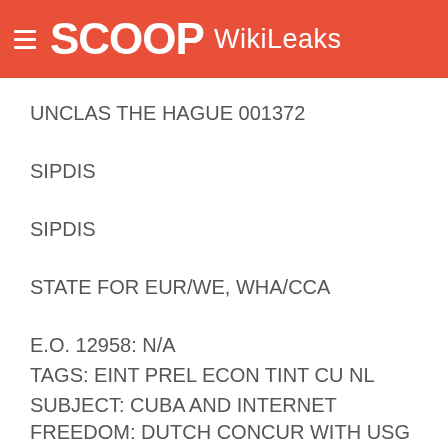SCOOP WikiLeaks
UNCLAS THE HAGUE 001372
SIPDIS
SIPDIS
STATE FOR EUR/WE, WHA/CCA
E.O. 12958: N/A
TAGS: EINT PREL ECON TINT CU NL
SUBJECT: CUBA AND INTERNET FREEDOM: DUTCH CONCUR WITH USG POSITION